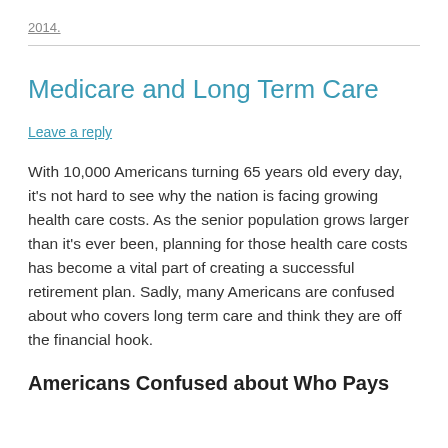2014.
Leave a reply
Medicare and Long Term Care
With 10,000 Americans turning 65 years old every day, it's not hard to see why the nation is facing growing health care costs. As the senior population grows larger than it's ever been, planning for those health care costs has become a vital part of creating a successful retirement plan. Sadly, many Americans are confused about who covers long term care and think they are off the financial hook.
Americans Confused about Who Pays